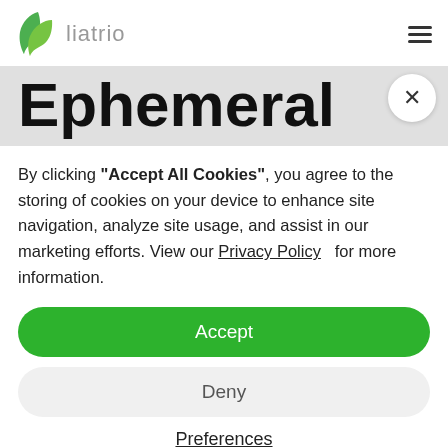liatrio
Ephemeral
By clicking "Accept All Cookies", you agree to the storing of cookies on your device to enhance site navigation, analyze site usage, and assist in our marketing efforts. View our Privacy Policy   for more information.
Accept
Deny
Preferences